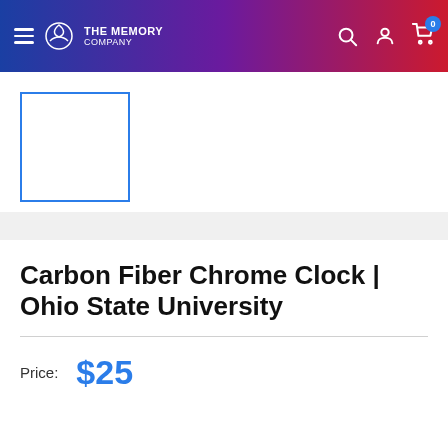THE MEMORY COMPANY
[Figure (photo): Product thumbnail placeholder — empty white box with blue border]
Carbon Fiber Chrome Clock | Ohio State University
Price: $25